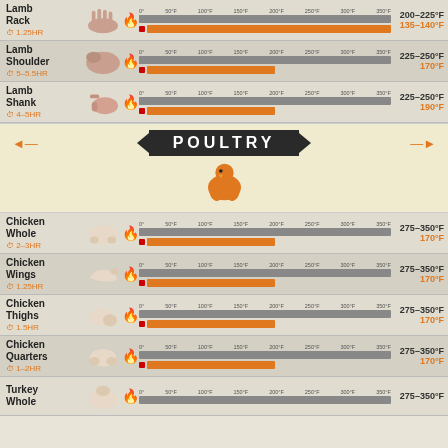Lamb Rack – 1.25HR – Cook temp: 200–225°F – Meat temp: 135–140°F
Lamb Shoulder – 5–5.5HR – Cook temp: 225–250°F – Meat temp: 170°F
Lamb Shank – 4–5HR – Cook temp: 225–250°F – Meat temp: 190°F
[Figure (infographic): POULTRY banner with chicken illustration and orange arrows]
Chicken Whole – 2–3HR – Cook temp: 275–350°F – Meat temp: 170°F
Chicken Wings – 1.25HR – Cook temp: 275–350°F – Meat temp: 170°F
Chicken Thighs – 1.5HR – Cook temp: 275–350°F – Meat temp: 170°F
Chicken Quarters – 1–2HR – Cook temp: 275–350°F – Meat temp: 170°F
Turkey Whole – Cook temp: 275–350°F